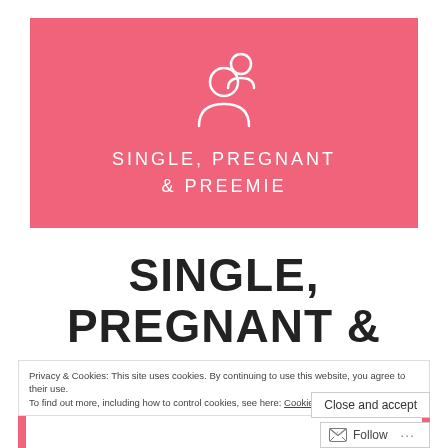[Figure (logo): Pink/salmon banner with white line-art icon of two people (parent and child figures) above the text SINGLE, PREGNANT & PREEMIE in white letters on pink background]
SINGLE, PREGNANT & PREEMIE
CARDIFF GIRL, (STILL) JUDGING IT ALL
Privacy & Cookies: This site uses cookies. By continuing to use this website, you agree to their use. To find out more, including how to control cookies, see here: Cookie Policy
Close and accept
Follow